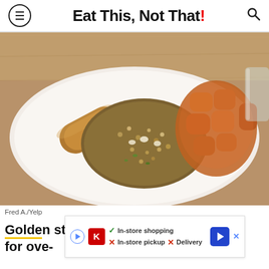Eat This, Not That!
[Figure (photo): A white plate with fried rice, an egg roll, and sweet and sour chicken pieces in orange sauce, on a wooden table.]
Fred A./Yelp
Golden ... stay for ov... e-